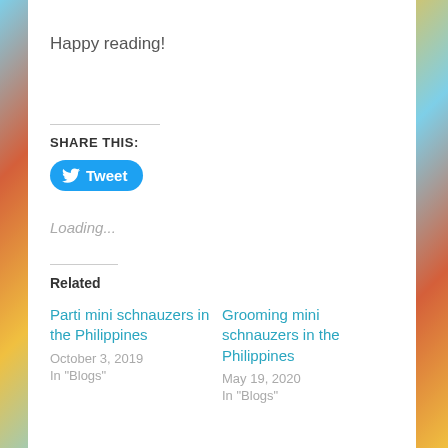Happy reading!
Share this:
[Figure (other): Tweet button with Twitter bird icon]
Loading...
Related
Parti mini schnauzers in the Philippines
October 3, 2019
In "Blogs"
Grooming mini schnauzers in the Philippines
May 19, 2020
In "Blogs"